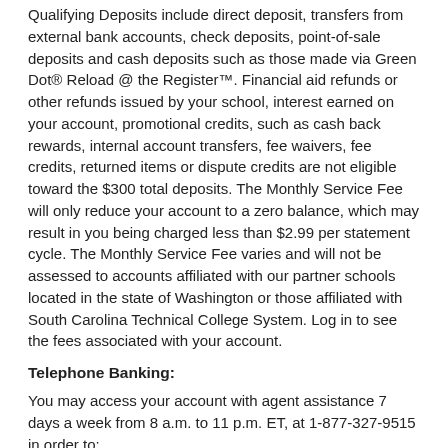Qualifying Deposits include direct deposit, transfers from external bank accounts, check deposits, point-of-sale deposits and cash deposits such as those made via Green Dot® Reload @ the Register™. Financial aid refunds or other refunds issued by your school, interest earned on your account, promotional credits, such as cash back rewards, internal account transfers, fee waivers, fee credits, returned items or dispute credits are not eligible toward the $300 total deposits. The Monthly Service Fee will only reduce your account to a zero balance, which may result in you being charged less than $2.99 per statement cycle. The Monthly Service Fee varies and will not be assessed to accounts affiliated with our partner schools located in the state of Washington or those affiliated with South Carolina Technical College System. Log in to see the fees associated with your account.
Telephone Banking:
You may access your account with agent assistance 7 days a week from 8 a.m. to 11 p.m. ET, at 1-877-327-9515 in order to:
1. Get help with the website.
2. Get transaction information about your Account.
3. Place a stop payment order.
4. Request copies of statements, checks and deposited items.
5. Report a card lost or stolen.